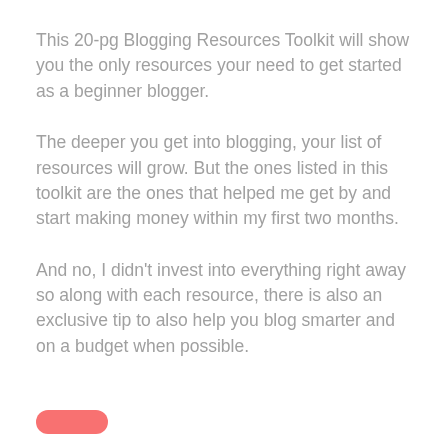This 20-pg Blogging Resources Toolkit will show you the only resources your need to get started as a beginner blogger.
The deeper you get into blogging, your list of resources will grow. But the ones listed in this toolkit are the ones that helped me get by and start making money within my first two months.
And no, I didn't invest into everything right away so along with each resource, there is also an exclusive tip to also help you blog smarter and on a budget when possible.